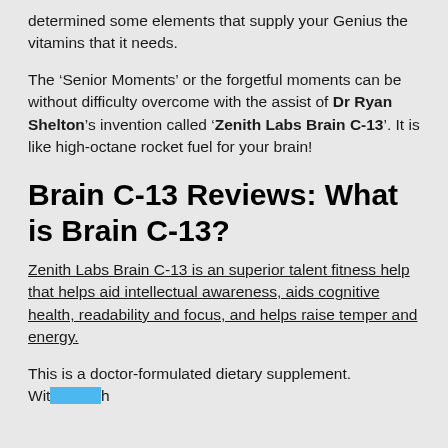determined some elements that supply your Genius the vitamins that it needs.
The ‘Senior Moments’ or the forgetful moments can be without difficulty overcome with the assist of Dr Ryan Shelton’s invention called ‘Zenith Labs Brain C-13’. It is like high-octane rocket fuel for your brain!
Brain C-13 Reviews: What is Brain C-13?
Zenith Labs Brain C-13 is an superior talent fitness help that helps aid intellectual awareness, aids cognitive health, readability and focus, and helps raise temper and energy.
This is a doctor-formulated dietary supplement. With h